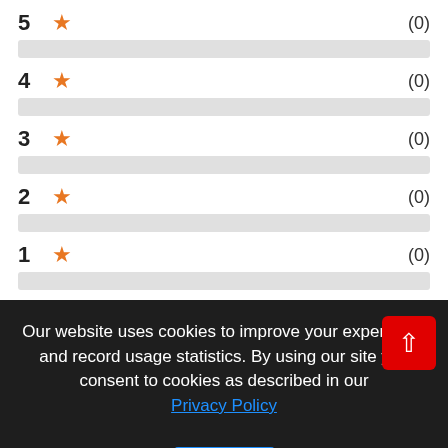5 ★ (0)
4 ★ (0)
3 ★ (0)
2 ★ (0)
1 ★ (0)
Our website uses cookies to improve your experience and record usage statistics. By using our site you consent to cookies as described in our Privacy Policy
OK